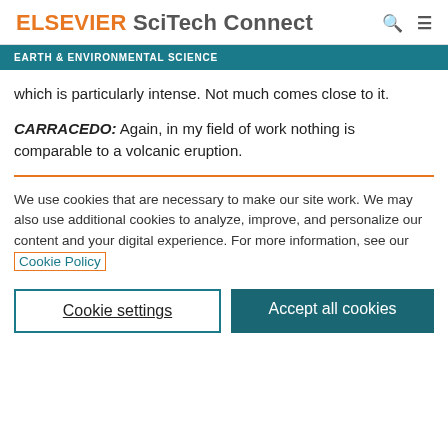ELSEVIER SciTech Connect
EARTH & ENVIRONMENTAL SCIENCE
which is particularly intense. Not much comes close to it.
CARRACEDO: Again, in my field of work nothing is comparable to a volcanic eruption.
We use cookies that are necessary to make our site work. We may also use additional cookies to analyze, improve, and personalize our content and your digital experience. For more information, see our Cookie Policy
Cookie settings
Accept all cookies